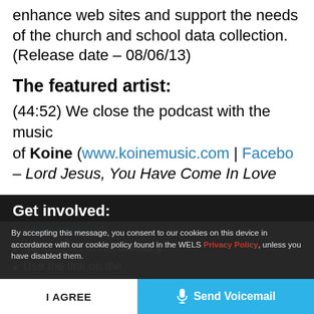enhance web sites and support the needs of the church and school data collection. (Release date – 08/06/13)
The featured artist:
(44:52) We close the podcast with the music of Koine (www.koinemusic.com | Facebook – Lord Jesus, You Have Come In Love
Get involved:
Add a comment
Send us an email unless you have disabled them.
Use the link on the [site] to leave us a voicemail
Add to the WELSTech wiki we...
By accepting this message, you consent to our cookies on this device in accordance with our cookie policy found in the WELS Privacy Policy, unless you have disabled them.